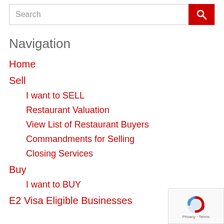[Figure (screenshot): Search bar with red search button icon]
Navigation
Home
Sell
I want to SELL
Restaurant Valuation
View List of Restaurant Buyers
Commandments for Selling
Closing Services
Buy
I want to BUY
E2 Visa Eligible Businesses